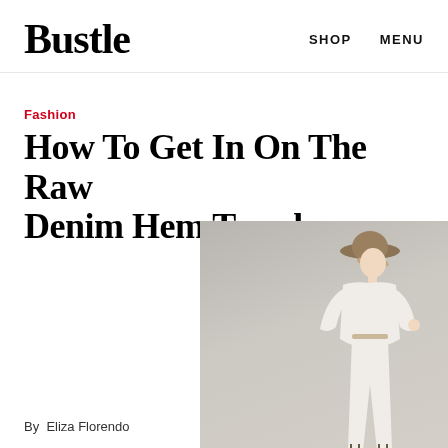Bustle   SHOP   MENU
Fashion
How To Get In On The Raw Denim Hem Trend
[Figure (photo): A woman wearing a wide-brimmed hat, white flowy top, white skinny jeans, and strappy sandals, standing in front of a grey wall]
By  Eliza Florendo